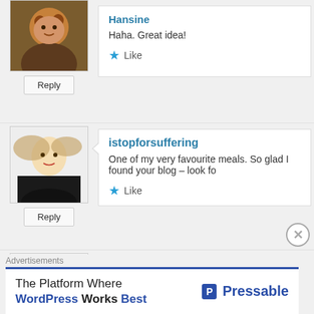Haha. Great idea!
Like
istopforsuffering
One of my very favourite meals. So glad I found your blog – look fo
Like
Got Your Holiday On??
We have beef on Tuesday nights, now I have a new Tuesday night d
Like
goodgoldenruler
Yum – that sounds great, will have to try
Advertisements
The Platform Where WordPress Works Best
[Figure (logo): Pressable logo]